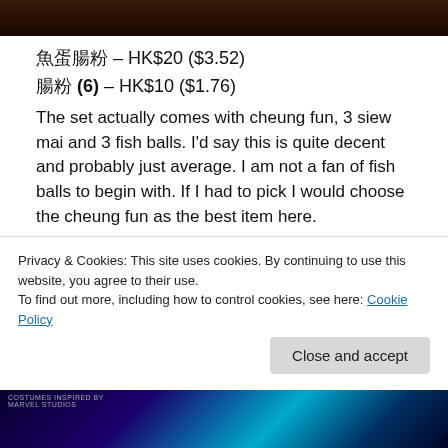[Figure (photo): Dark reddish-brown photo strip at top of page]
魚蛋腸粉 – HK$20 ($3.52)
腸粉 (6) – HK$10 ($1.76)
The set actually comes with cheung fun, 3 siew mai and 3 fish balls. I'd say this is quite decent and probably just average. I am not a fan of fish balls to begin with. If I had to pick I would choose the cheung fun as the best item here.
相關文章
30 Jardine's Bazaar, Causeway Bay, Hong Kong
Privacy & Cookies: This site uses cookies. By continuing to use this website, you agree to their use.
To find out more, including how to control cookies, see here: Cookie Policy
[Figure (photo): Marvel promotional banner at bottom of page]